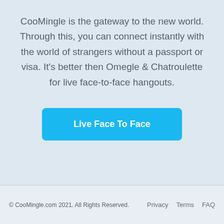CooMingle is the gateway to the new world. Through this, you can connect instantly with the world of strangers without a passport or visa. It's better then Omegle & Chatroulette for live face-to-face hangouts.
[Figure (other): Blue rounded button with white bold text reading 'Live Face To Face']
© CooMingle.com 2021. All Rights Reserved.    Privacy   Terms   FAQ